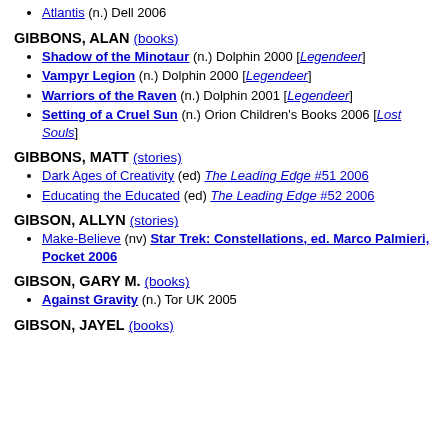Atlantis (n.) Dell 2006
GIBBONS, ALAN (books)
Shadow of the Minotaur (n.) Dolphin 2000 [Legendeer]
Vampyr Legion (n.) Dolphin 2000 [Legendeer]
Warriors of the Raven (n.) Dolphin 2001 [Legendeer]
Setting of a Cruel Sun (n.) Orion Children's Books 2006 [Lost Souls]
GIBBONS, MATT (stories)
Dark Ages of Creativity (ed) The Leading Edge #51 2006
Educating the Educated (ed) The Leading Edge #52 2006
GIBSON, ALLYN (stories)
Make-Believe (nv) Star Trek: Constellations, ed. Marco Palmieri, Pocket 2006
GIBSON, GARY M. (books)
Against Gravity (n.) Tor UK 2005
GIBSON, JAYEL (books)